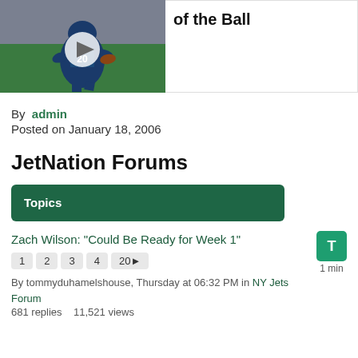[Figure (photo): Football player wearing jersey number 20 (Seattle Seahawks) running with the ball, with a video play button overlay. Partial article title visible to the right: 'of the Ball']
of the Ball
By admin
Posted on January 18, 2006
JetNation Forums
| Topics |
| --- |
Zach Wilson: "Could Be Ready for Week 1"
Pages: 1 2 3 4 20▶
By tommyduhamelshouse, Thursday at 06:32 PM in NY Jets Forum
681 replies   11,521 views